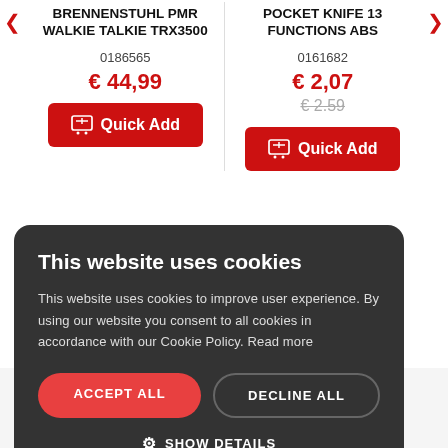BRENNENSTUHL PMR WALKIE TALKIE TRX3500
POCKET KNIFE 13 FUNCTIONS ABS
0186565
€ 44,99
0161682
€ 2,07
€ 2.59
Quick Add
Quick Add
This website uses cookies
This website uses cookies to improve user experience. By using our website you consent to all cookies in accordance with our Cookie Policy. Read more
ACCEPT ALL
DECLINE ALL
SHOW DETAILS